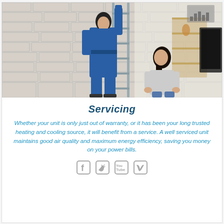[Figure (photo): A technician in blue overalls working on a wall-mounted unit with a ladder, while a woman watches, in a modern living room with a brick wall.]
Servicing
Whether your unit is only just out of warranty, or it has been your long trusted heating and cooling source, it will benefit from a service. A well serviced unit maintains good air quality and maximum energy efficiency, saving you money on your power bills.
[Figure (infographic): Social media icons: Facebook, Twitter, YouTube, Vimeo]